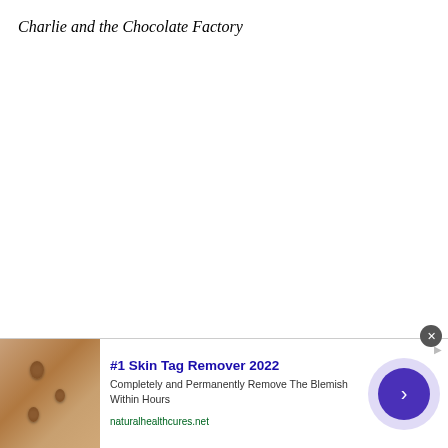Charlie and the Chocolate Factory
[Figure (other): Advertisement banner at the bottom of the page. Shows a skin-tag image on the left, ad text in the middle, and a circular arrow button on the right.]